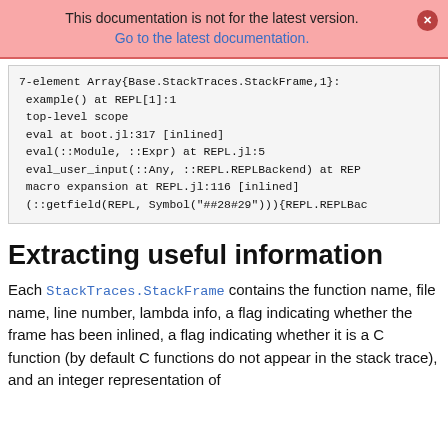This documentation is not for the latest version. Go to the latest documentation.
7-element Array{Base.StackTraces.StackFrame,1}:
 example() at REPL[1]:1
 top-level scope
 eval at boot.jl:317 [inlined]
 eval(::Module, ::Expr) at REPL.jl:5
 eval_user_input(::Any, ::REPL.REPLBackend) at REP
 macro expansion at REPL.jl:116 [inlined]
 (::getfield(REPL, Symbol("##28#29"))){REPL.REPLBac
Extracting useful information
Each StackTraces.StackFrame contains the function name, file name, line number, lambda info, a flag indicating whether the frame has been inlined, a flag indicating whether it is a C function (by default C functions do not appear in the stack trace), and an integer representation of